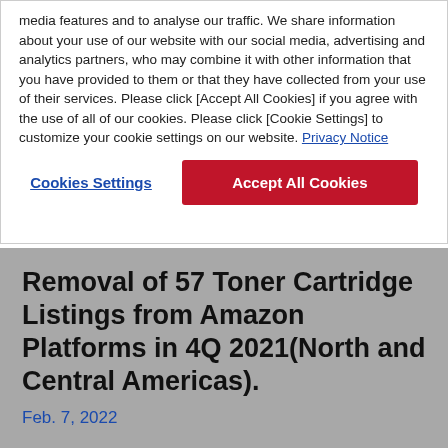media features and to analyse our traffic. We share information about your use of our website with our social media, advertising and analytics partners, who may combine it with other information that you have provided to them or that they have collected from your use of their services. Please click [Accept All Cookies] if you agree with the use of all of our cookies. Please click [Cookie Settings] to customize your cookie settings on our website. Privacy Notice
Cookies Settings
Accept All Cookies
Removal of 57 Toner Cartridge Listings from Amazon Platforms in 4Q 2021(North and Central Americas).
Feb. 7, 2022